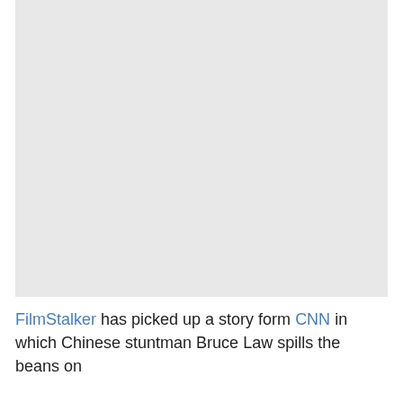[Figure (photo): A large light gray rectangular placeholder image occupying the upper portion of the page.]
FilmStalker has picked up a story form CNN in which Chinese stuntman Bruce Law spills the beans on